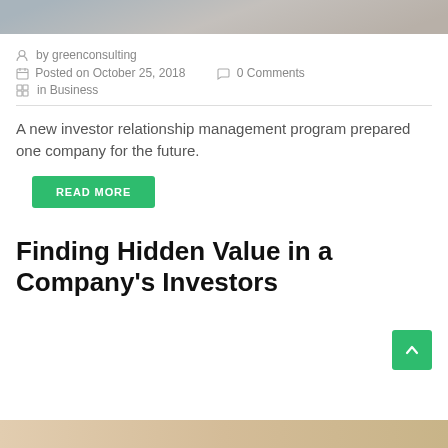[Figure (photo): Top portion of a photo showing a document binder or folder on a desk, cropped at the top of the page.]
by greenconsulting
Posted on October 25, 2018   0 Comments
in Business
A new investor relationship management program prepared one company for the future.
READ MORE
Finding Hidden Value in a Company's Investors
[Figure (photo): Bottom portion of the next article's featured image, partially visible at the bottom of the page.]